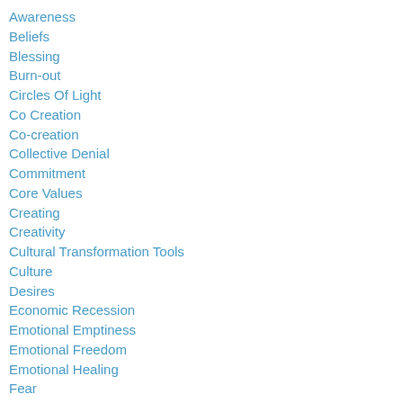Awareness
Beliefs
Blessing
Burn-out
Circles Of Light
Co Creation
Co-creation
Collective Denial
Commitment
Core Values
Creating
Creativity
Cultural Transformation Tools
Culture
Desires
Economic Recession
Emotional Emptiness
Emotional Freedom
Emotional Healing
Fear